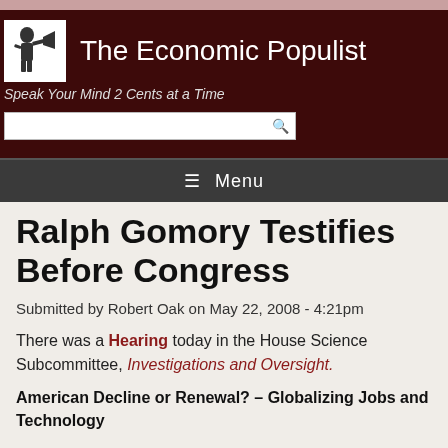The Economic Populist — Speak Your Mind 2 Cents at a Time
Ralph Gomory Testifies Before Congress
Submitted by Robert Oak on May 22, 2008 - 4:21pm
There was a Hearing today in the House Science Subcommittee, Investigations and Oversight.
American Decline or Renewal? – Globalizing Jobs and Technology